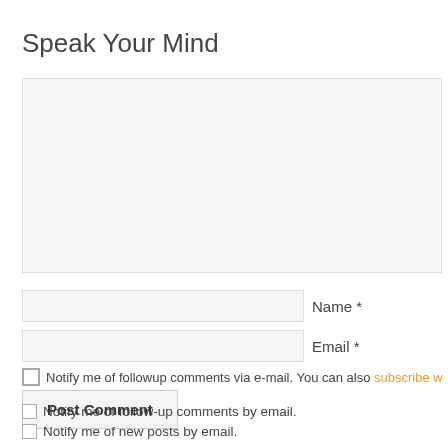Speak Your Mind
[Figure (other): Comment textarea input field (large, light gray background)]
Name *
Email *
Notify me of followup comments via e-mail. You can also subscribe w…
Post Comment
Notify me of follow-up comments by email.
Notify me of new posts by email.